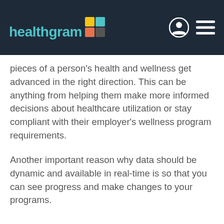healthgram
pieces of a person's health and wellness get advanced in the right direction. This can be anything from helping them make more informed decisions about healthcare utilization or stay compliant with their employer's wellness program requirements.
Another important reason why data should be dynamic and available in real-time is so that you can see progress and make changes to your programs.